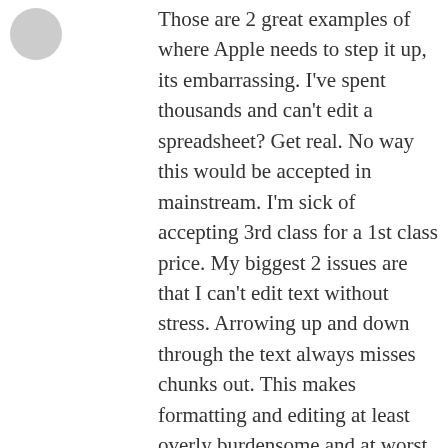[Figure (other): Circular avatar/profile picture placeholder in light gray]
Those are 2 great examples of where Apple needs to step it up, its embarrassing. I've spent thousands and can't edit a spreadsheet? Get real. No way this would be accepted in mainstream. I'm sick of accepting 3rd class for a 1st class price. My biggest 2 issues are that I can't edit text without stress. Arrowing up and down through the text always misses chunks out. This makes formatting and editing at least overly burdensome and at worst impossible. Certainly almost impossible to have an experience equal to someone looking at the screen. Another one is the size of targets we touch with our fingers. Why is there so much dead space around the keyboard? Why must I hunt for the exact set of pixels that represent the element I want to touch. It's frustrating and